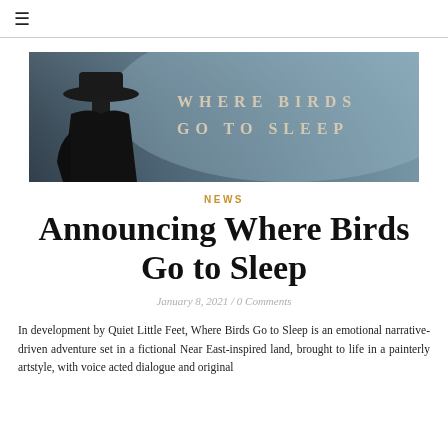≡
[Figure (illustration): Banner image for 'Where Birds Go to Sleep' — a moody cinematic scene with a figure in a wide-brimmed hat on the left against a foggy blue-grey background, with the title 'Where Birds Go to Sleep' in spaced serif lettering on the right.]
NEWS
Announcing Where Birds Go to Sleep
January 8, 2021 / 0 Comments
In development by Quiet Little Feet, Where Birds Go to Sleep is an emotional narrative-driven adventure set in a fictional Near East-inspired land, brought to life in a painterly artstyle, with voice acted dialogue and original